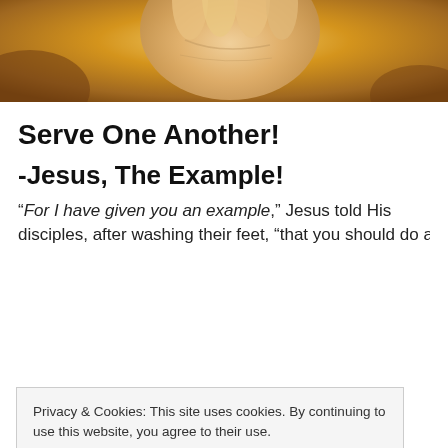[Figure (photo): Close-up photograph of an open human hand/palm with warm golden-brown tones, appearing to be an artistic religious image.]
Serve One Another!
-Jesus, The Example!
“For I have given you an example,” Jesus told His disciples, after washing their feet, “that you should do as I
Privacy & Cookies: This site uses cookies. By continuing to use this website, you agree to their use. To find out more, including how to control cookies, see here: Cookie Policy
Close and accept